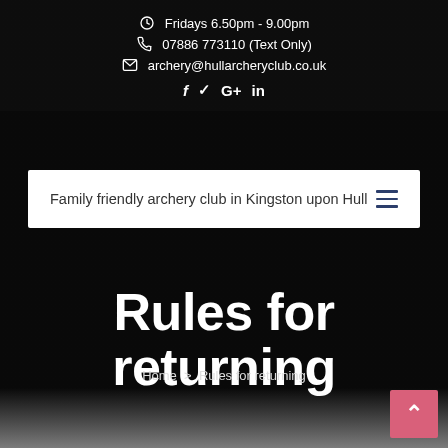Fridays 6.50pm - 9.00pm
07886 773110 (Text Only)
archery@hullarcheryclub.co.uk
f ❧ G+ in
Family friendly archery club in Kingston upon Hull
Rules for returning
Home > Rules for returning